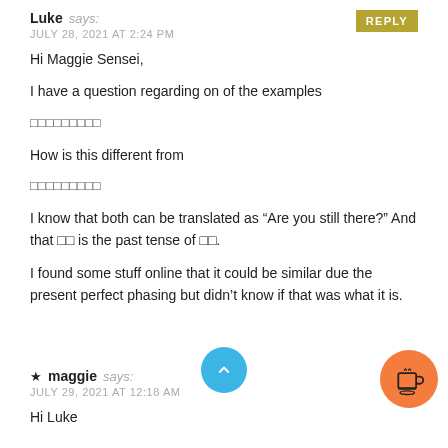Luke says: JULY 28, 2021 AT 2:24 PM
Hi Maggie Sensei,
I have a question regarding on of the examples
□□□□□□□□□
How is this different from
□□□□□□□□□
I know that both can be translated as “Are you still there?” And that □□ is the past tense of □□.
I found some stuff online that it could be similar due the present perfect phasing but didn’t know if that was what it is.
maggie says: JULY 29, 2021 AT 12:18 AM
Hi Luke